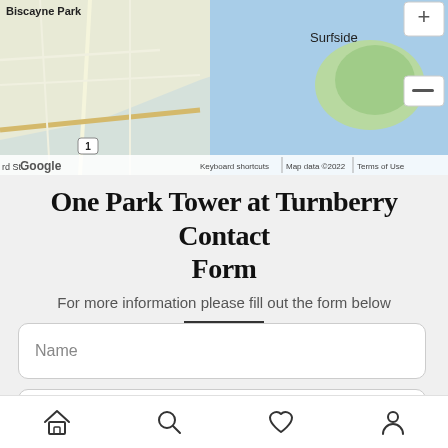[Figure (map): Google Maps screenshot showing Biscayne Park area, waterway/bay, Surfside label top right, zoom controls, Google logo bottom left, map attribution bar with Keyboard shortcuts, Map data ©2022, Terms of Use]
One Park Tower at Turnberry Contact Form
For more information please fill out the form below
[Figure (screenshot): Contact form with Name and Email Address input fields, WhatsApp floating button (green circle) on the Email Address field]
[Figure (other): Bottom navigation bar with home, search, heart/favorites, and profile icons]